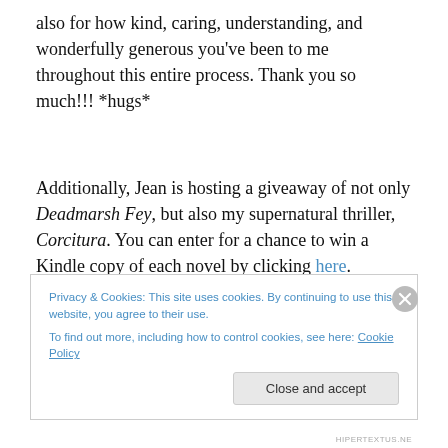also for how kind, caring, understanding, and wonderfully generous you've been to me throughout this entire process. Thank you so much!!! *hugs*
Additionally, Jean is hosting a giveaway of not only Deadmarsh Fey, but also my supernatural thriller, Corcitura. You can enter for a chance to win a Kindle copy of each novel by clicking here.
Privacy & Cookies: This site uses cookies. By continuing to use this website, you agree to their use.
To find out more, including how to control cookies, see here: Cookie Policy
[Close and accept]